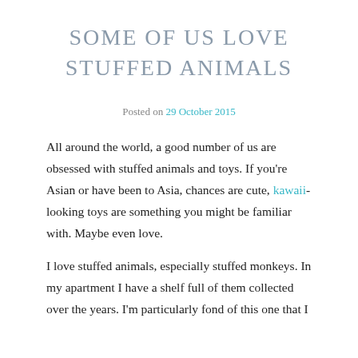SOME OF US LOVE STUFFED ANIMALS
Posted on 29 October 2015
All around the world, a good number of us are obsessed with stuffed animals and toys. If you're Asian or have been to Asia, chances are cute, kawaii-looking toys are something you might be familiar with. Maybe even love.
I love stuffed animals, especially stuffed monkeys. In my apartment I have a shelf full of them collected over the years. I'm particularly fond of this one that I